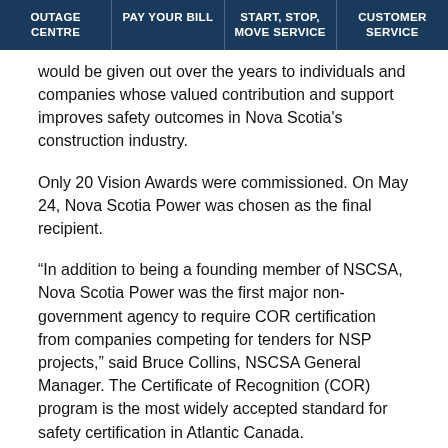OUTAGE CENTRE | PAY YOUR BILL | START, STOP, MOVE SERVICE | CUSTOMER SERVICE
would be given out over the years to individuals and companies whose valued contribution and support improves safety outcomes in Nova Scotia's construction industry.
Only 20 Vision Awards were commissioned. On May 24, Nova Scotia Power was chosen as the final recipient.
“In addition to being a founding member of NSCSA, Nova Scotia Power was the first major non-government agency to require COR certification from companies competing for tenders for NSP projects,” said Bruce Collins, NSCSA General Manager. The Certificate of Recognition (COR) program is the most widely accepted standard for safety certification in Atlantic Canada.
“Most importantly, NSP is an active and visible safety leader to all industries throughout the province,” added Bruce.
Nova Scotia Power has maintained active representation on the NSCSA Board of Directors since its inception in 1993 and has